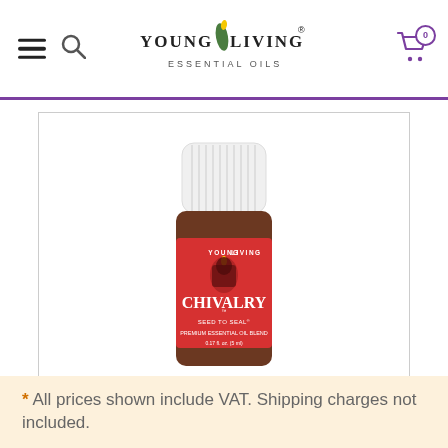Young Living Essential Oils — navigation header with hamburger menu, search icon, logo, and cart (0)
[Figure (photo): Young Living Chivalry essential oil blend bottle — small amber glass bottle with white ribbed cap and red label reading: YOUNG LIVING, CHIVALRY, SEED TO SEAL, PREMIUM ESSENTIAL OIL BLEND, 0.17 fl. oz. (5 ml)]
* All prices shown include VAT. Shipping charges not included.